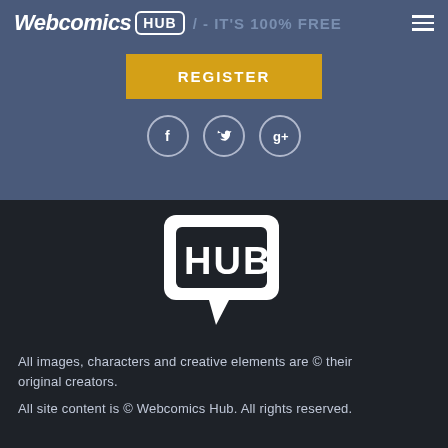Webcomics HUB - IT'S 100% FREE
[Figure (logo): REGISTER button in gold/yellow]
[Figure (logo): Social media icons: Facebook, Twitter, Google+]
[Figure (logo): Webcomics Hub speech bubble logo with HUB text]
All images, characters and creative elements are © their original creators.
All site content is © Webcomics Hub. All rights reserved.